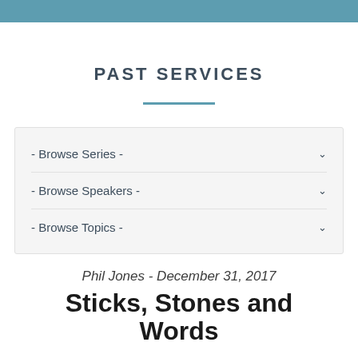PAST SERVICES
- Browse Series -
- Browse Speakers -
- Browse Topics -
Phil Jones - December 31, 2017
Sticks, Stones and Words